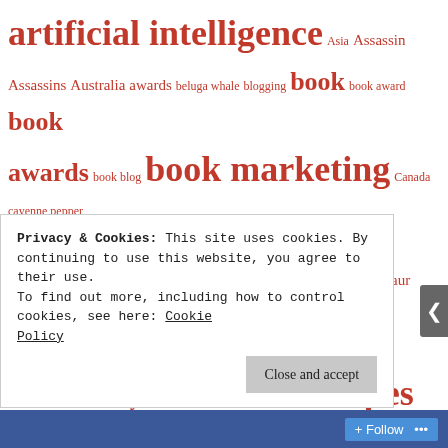artificial intelligence Asia Assassin Assassins Australia awards beluga whale blogging book book award book awards book blog book marketing Canada cayenne pepper Christmas clones cold war contest corn cosplay crime cryopreservation cyborg cyborgs dark fantasy death dinosaur dinosaurs dogs dome dragon dragons drones dystopia Editing empire fae fairy fairy tale first contact Four Apes galactic empire galaxy garden gardening genetics ghost ghosts government grimdark Halloween heroic fantasy historical fantasy hit man Holidays horror HP Lovecraft humor indian corn james bond Japan kung-fu lobster low fantasy mad scientist magic Maine Mars Martial Arts memory microfiction military sci fi monster
Privacy & Cookies: This site uses cookies. By continuing to use this website, you agree to their use. To find out more, including how to control cookies, see here: Cookie Policy